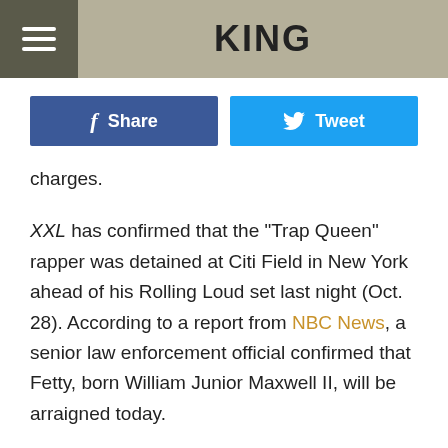KING
[Figure (infographic): Facebook Share button and Twitter Tweet button]
charges.
XXL has confirmed that the "Trap Queen" rapper was detained at Citi Field in New York ahead of his Rolling Loud set last night (Oct. 28). According to a report from NBC News, a senior law enforcement official confirmed that Fetty, born William Junior Maxwell II, will be arraigned today.
In legal documents obtained by XXL from the Department of Justice, Fetty and five other individuals have been indicted on charges of conspiring to distribute and possess controlled substances. Five of the defendants also face firearms